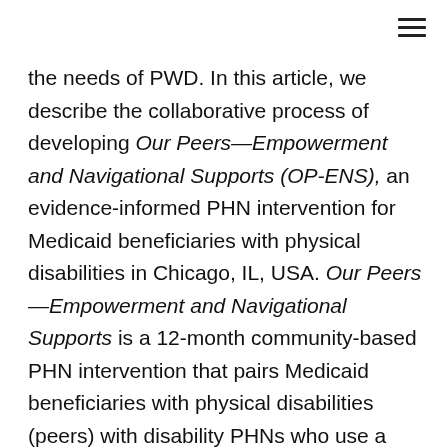the needs of PWD. In this article, we describe the collaborative process of developing Our Peers—Empowerment and Navigational Supports (OP-ENS), an evidence-informed PHN intervention for Medicaid beneficiaries with physical disabilities in Chicago, IL, USA. Our Peers—Empowerment and Navigational Supports is a 12-month community-based PHN intervention that pairs Medicaid beneficiaries with physical disabilities (peers) with disability PHNs who use a structured recursive process of barrier identification and asset mapping, goal setting, and action planning to help peers meet their health care needs. Our Peers—Empowerment and Navigational Supports was developed by a collaborative team that included disability rights leaders, representatives from a Medicaid managed care